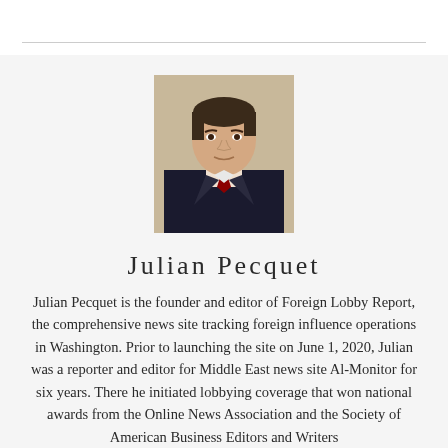[Figure (photo): Professional headshot of Julian Pecquet, a man in a dark suit with a red tie, against a light beige background.]
Julian Pecquet
Julian Pecquet is the founder and editor of Foreign Lobby Report, the comprehensive news site tracking foreign influence operations in Washington. Prior to launching the site on June 1, 2020, Julian was a reporter and editor for Middle East news site Al-Monitor for six years. There he initiated lobbying coverage that won national awards from the Online News Association and the Society of American Business Editors and Writers